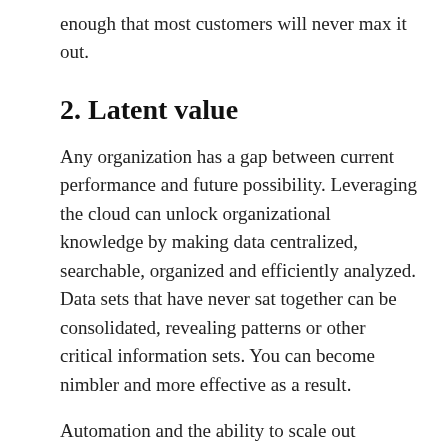enough that most customers will never max it out.
2. Latent value
Any organization has a gap between current performance and future possibility. Leveraging the cloud can unlock organizational knowledge by making data centralized, searchable, organized and efficiently analyzed. Data sets that have never sat together can be consolidated, revealing patterns or other critical information sets. You can become nimbler and more effective as a result.
Automation and the ability to scale out environments with the click of a button can be tremendously valuable. However, ancillary benefits like these aren't usually available out of the box. They must be built, and require investment, but the